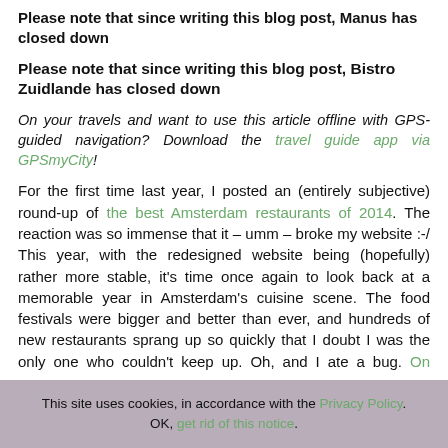Please note that since writing this blog post, Manus has closed down
Please note that since writing this blog post, Bistro Zuidlande has closed down
On your travels and want to use this article offline with GPS-guided navigation? Download the travel guide app via GPSmyCity!
For the first time last year, I posted an (entirely subjective) round-up of the best Amsterdam restaurants of 2014. The reaction was so immense that it – umm – broke my website :-/ This year, with the redesigned website being (hopefully) rather more stable, it's time once again to look back at a memorable year in Amsterdam's cuisine scene. The food festivals were bigger and better than ever, and hundreds of new restaurants sprang up so quickly that I doubt I was the only one who couldn't keep up. Oh, and I ate a bug. On camera.
This site uses cookies, in accordance with the Privacy Policy. OK, get rid of this notice.